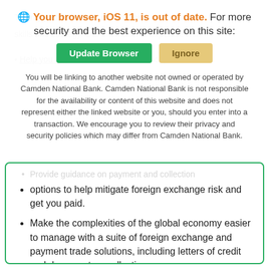[Figure (screenshot): Browser update notification modal overlay with warning icon, bold orange text 'Your browser, iOS 11, is out of date.' followed by 'For more security and the best experience on this site:', a green 'Update Browser' button and a tan 'Ignore' button, and a disclaimer about linking to an external website not owned by Camden National Bank.]
Provide guidance on payment and collection options to help mitigate foreign exchange risk and get you paid.
Make the complexities of the global economy easier to manage with a suite of foreign exchange and payment trade solutions, including letters of credit and documentary collections
Contact our Treasury Management team to learn more.